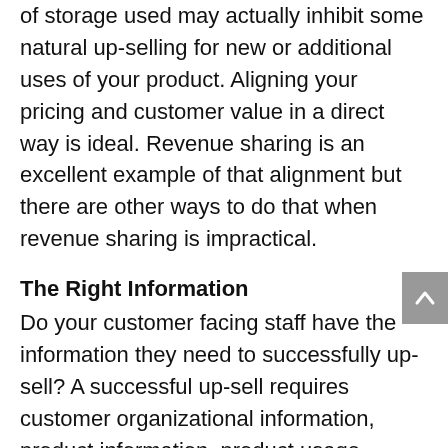of storage used may actually inhibit some natural up-selling for new or additional uses of your product. Aligning your pricing and customer value in a direct way is ideal. Revenue sharing is an excellent example of that alignment but there are other ways to do that when revenue sharing is impractical.
The Right Information
Do your customer facing staff have the information they need to successfully up-sell? A successful up-sell requires customer organizational information, product information, product usage information and knowledge of the customer's business and business goals. Without this information up-selling can be a haphazard process that erodes customer trust.
The Right Tools